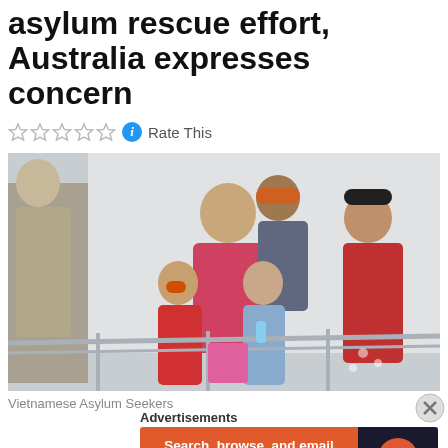asylum rescue effort, Australia expresses concern
Rate This
[Figure (photo): Group of Vietnamese asylum seekers including adults and children walking together, smiling, on a gangway or dock. Adults and children wearing casual clothing including red jackets and orange caps. An official/guard is visible on the left edge.]
Vietnamese Asylum Seekers
Advertisements
[Figure (other): DuckDuckGo advertisement: 'Search, browse, and email with more privacy. All in One Free App' with DuckDuckGo logo on dark background.]